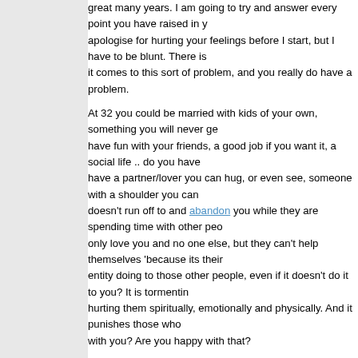great many years. I am going to try and answer every point you have raised in y… apologise for hurting your feelings before I start, but I have to be blunt. There is… it comes to this sort of problem, and you really do have a problem.
At 32 you could be married with kids of your own, something you will never ge… have fun with your friends, a good job if you want it, a social life .. do you have… have a partner/lover you can hug, or even see, someone with a shoulder you can… doesn't run off to and abandon you while they are spending time with other peo… only love you and no one else, but they can't help themselves 'because its their… entity doing to those other people, even if it doesn't do it to you? It is tormentin… hurting them spiritually, emotionally and physically. And it punishes those who… with you? Are you happy with that?
A doubt very much the demon actually saved you from self-destruction .. it prob… first, so it could use the 'saving' as a reason for you to develop an emotional bo… remember they are master manipulators, who know us far better than we realise… I know how exhausting it is to fight, and I know that in the end you have two ch… You gave in, and in doing so gave the demon even more power over you.
Right now you have no free will. You cannot make a choice for yourself that the… I don't know how it punishes you when you try, but it does. Since you are emoti… when its not there, the punishment could be as simple as its absence .. or your n… it while it stands only a few feet away gloating over its victory over you. And th…